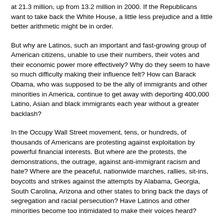at 21.3 million, up from 13.2 million in 2000. If the Republicans want to take back the White House, a little less prejudice and a little better arithmetic might be in order.
But why are Latinos, such an important and fast-growing group of American citizens, unable to use their numbers, their votes and their economic power more effectively? Why do they seem to have so much difficulty making their influence felt? How can Barack Obama, who was supposed to be the ally of immigrants and other minorities in America, continue to get away with deporting 400,000 Latino, Asian and black immigrants each year without a greater backlash?
In the Occupy Wall Street movement, tens, or hundreds, of thousands of Americans are protesting against exploitation by powerful financial interests. But where are the protests, the demonstrations, the outrage, against anti-immigrant racism and hate? Where are the peaceful, nationwide marches, rallies, sit-ins, boycotts and strikes against the attempts by Alabama, Georgia, South Carolina, Arizona and other states to bring back the days of segregation and racial persecution? Have Latinos and other minorities become too intimidated to make their voices heard?